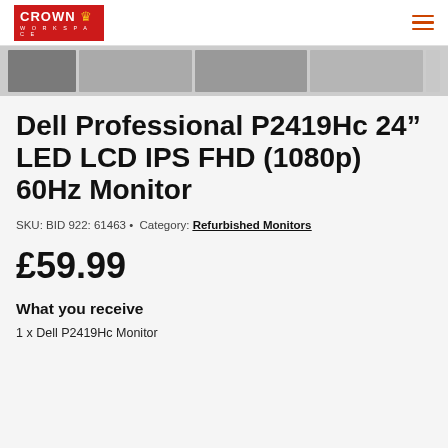CROWN WORKSPACE
[Figure (screenshot): Image strip showing thumbnail previews of monitor product images in grayscale]
Dell Professional P2419Hc 24" LED LCD IPS FHD (1080p) 60Hz Monitor
SKU: BID 922: 61463 • Category: Refurbished Monitors
£59.99
What you receive
1 x Dell P2419Hc Monitor